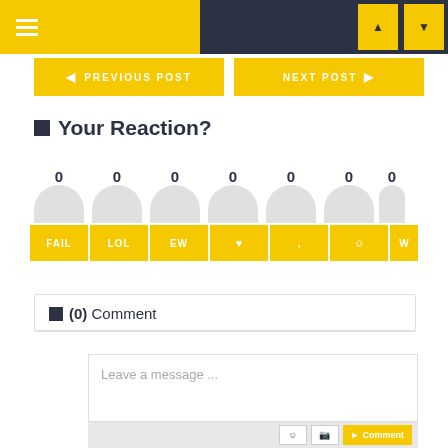Navigation header with menu icon and icon buttons
PREVIOUS POST | NEXT POST
Your Reaction?
0 FAIL | 0 LOL | 0 EW | 0 | 0 | 0 | W
(0) Comment
Leave a message ...
Comment